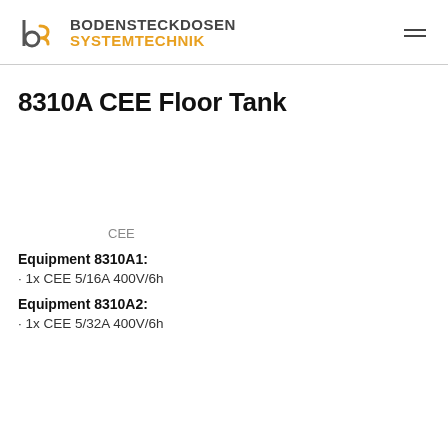BODENSTECKDOSEN SYSTEMTECHNIK
8310A CEE Floor Tank
CEE
Equipment 8310A1:
1x CEE 5/16A 400V/6h
Equipment 8310A2:
1x CEE 5/32A 400V/6h